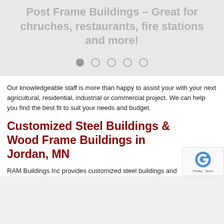Post Frame Buildings – Great for chruches, restaurants, fire stations and more!
[Figure (other): Carousel navigation dots: one filled dot and four empty circle dots]
Our knowledgeable staff is more than happy to assist your with your next agricultural, residential, industrial or commercial project. We can help you find the best fit to suit your needs and budget.
Customized Steel Buildings & Wood Frame Buildings in Jordan, MN
RAM Buildings Inc provides customized steel buildings and